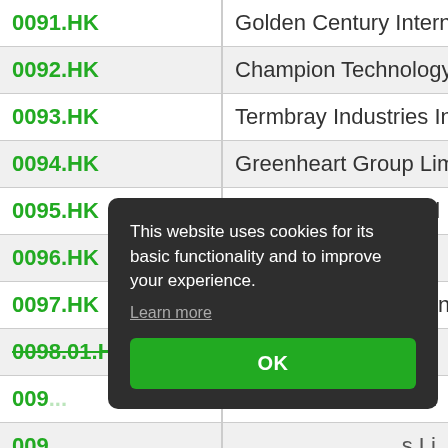| Ticker | Company Name |
| --- | --- |
| 0091.HK | Golden Century International Ho... |
| 0092.HK | Champion Technology Holdings L... |
| 0093.HK | Termbray Industries Internationa... |
| 0094.HK | Greenheart Group Limited |
| 0095.HK | LVGEM (China) Real Estate Invest... |
| 0096.HK | Yusei Holdings Ltd |
| 0097.HK | Henderson Investment Limited |
| 0098.01.HK | XINGFA ALUM... |
| 009... | ...imit... |
| 009... | ...s Li... |
| 010... |  |
| 010... | ...ed |
| 0103.HK | Shougang Concord Century Ho... |
This website uses cookies for its basic functionality and to improve your experience. Learn more